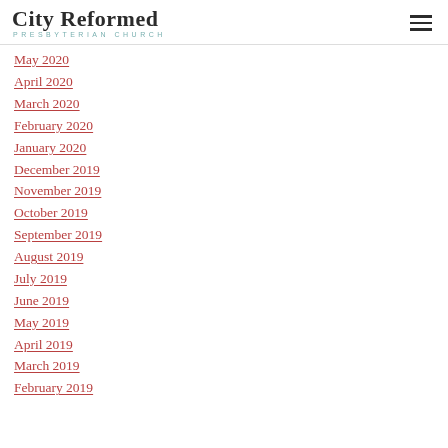City Reformed Presbyterian Church
May 2020
April 2020
March 2020
February 2020
January 2020
December 2019
November 2019
October 2019
September 2019
August 2019
July 2019
June 2019
May 2019
April 2019
March 2019
February 2019